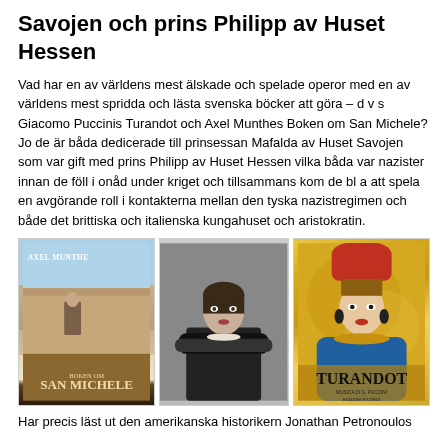Savojen och prins Philipp av Huset Hessen
Vad har en av världens mest älskade och spelade operor med en av världens mest spridda och lästa svenska böcker att göra – d v s Giacomo Puccinis Turandot och Axel Munthes Boken om San Michele? Jo de är båda dedicerade till prinsessan Mafalda av Huset Savojen som var gift med prins Philipp av Huset Hessen vilka båda var nazister innan de föll i onåd under kriget och tillsammans kom de bl a att spela en avgörande roll i kontakterna mellan den tyska nazistregimen och både det brittiska och italienska kungahuset och aristokratin.
[Figure (photo): Book cover of Axel Munthe's Boken om San Michele]
[Figure (photo): Black and white portrait photograph of Princess Mafalda of Savoy]
[Figure (photo): Opera poster for Turandot by G. Puccini, Edizioni Ricordi]
Har precis läst ut den amerikanska historikern Jonathan Petronoulos